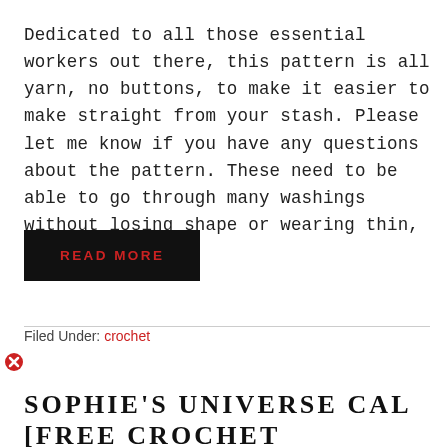Dedicated to all those essential workers out there, this pattern is all yarn, no buttons, to make it easier to make straight from your stash. Please let me know if you have any questions about the pattern. These need to be able to go through many washings without losing shape or wearing thin, so a …
READ MORE
Filed Under: crochet
SOPHIE'S UNIVERSE CAL [FREE CROCHET PATTERN]